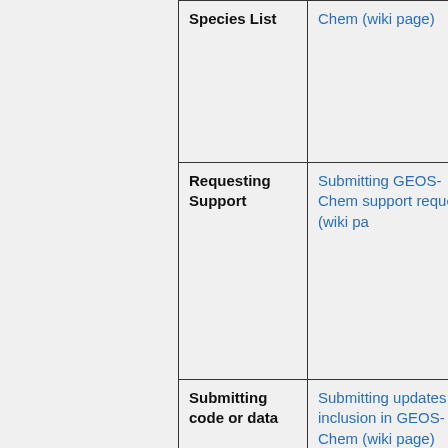| Topic | Resource |
| --- | --- |
| Species List | Chem (wiki page) |
| Requesting Support | Submitting GEOS-Chem support requests (wiki page) |
| Submitting code or data | Submitting updates for inclusion in GEOS-Chem (wiki page) |